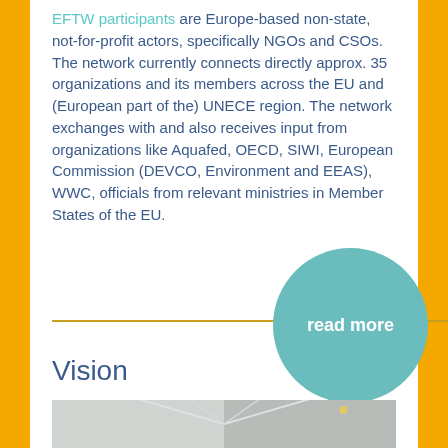EFTW participants are Europe-based non-state, not-for-profit actors, specifically NGOs and CSOs. The network currently connects directly approx. 35 organizations and its members across the EU and (European part of the) UNECE region. The network exchanges with and also receives input from organizations like Aquafed, OECD, SIWI, European Commission (DEVCO, Environment and EEAS), WWC, officials from relevant ministries in Member States of the EU.
[Figure (other): Teal circular button with text 'read more']
Vision
[Figure (photo): Partial photograph showing what appears to be an architectural or outdoor scene, partially visible at the bottom of the page]